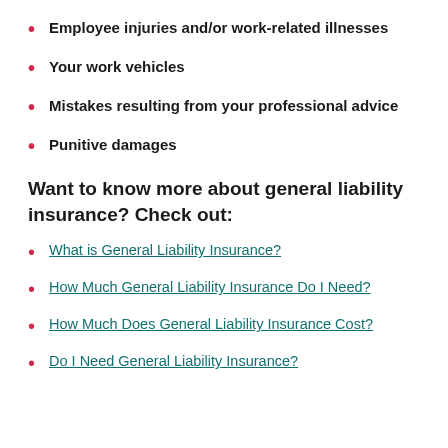Employee injuries and/or work-related illnesses
Your work vehicles
Mistakes resulting from your professional advice
Punitive damages
Want to know more about general liability insurance? Check out:
What is General Liability Insurance?
How Much General Liability Insurance Do I Need?
How Much Does General Liability Insurance Cost?
Do I Need General Liability Insurance?